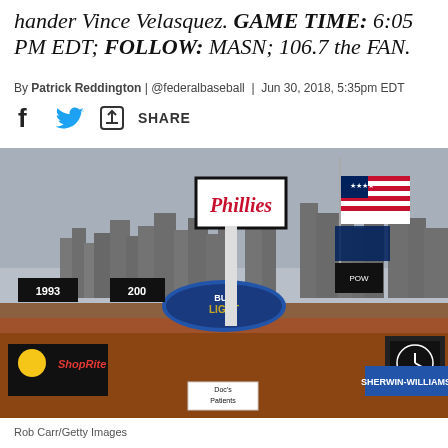hander Vince Velasquez. GAME TIME: 6:05 PM EDT; FOLLOW: MASN; 106.7 the FAN.
By Patrick Reddington | @federalbaseball | Jun 30, 2018, 5:35pm EDT
[Figure (photo): Social share icons: Facebook (f), Twitter bird, and a share/export icon followed by the word SHARE]
[Figure (photo): Outdoor photograph of Citizens Bank Park stadium exterior with the Philadelphia skyline in the background. Visible signage includes Phillies logo, Bud Light, ShopRite, Sherwin-Williams, year banners (1993, 200s), flags including the American flag, and a Phillies scoreboard. Overcast sky. A banner reads 'Doc's Patients'.]
Rob Carr/Getty Images